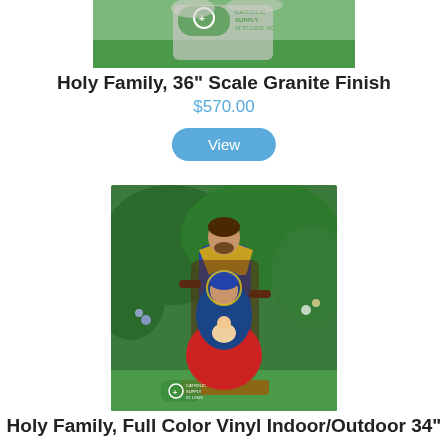[Figure (photo): Cropped top portion of a Holy Family granite finish outdoor statue with Catholic Supply of St. Louis logo watermark, shown on green grass background.]
Holy Family, 36" Scale Granite Finish
$570.00
View
[Figure (photo): Full color vinyl Holy Family statue showing Joseph standing behind a seated Mary holding baby Jesus, set in an outdoor garden with lush green foliage. Catholic Supply of St. Louis logo watermark visible at bottom left.]
Holy Family, Full Color Vinyl Indoor/Outdoor 34"